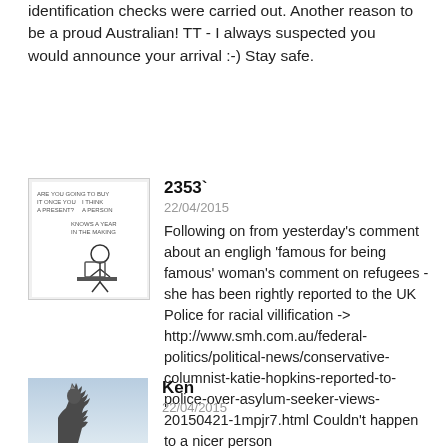identification checks were carried out. Another reason to be a proud Australian! TT - I always suspected you would announce your arrival :-) Stay safe.
2353`
22/04/2015
Following on from yesterday's comment about an engligh 'famous for being famous' woman's comment on refugees - she has been rightly reported to the UK Police for racial villification -> http://www.smh.com.au/federal-politics/political-news/conservative-columnist-katie-hopkins-reported-to-police-over-asylum-seeker-views-20150421-1mpjr7.html Couldn't happen to a nicer person
Ken
22/04/2015